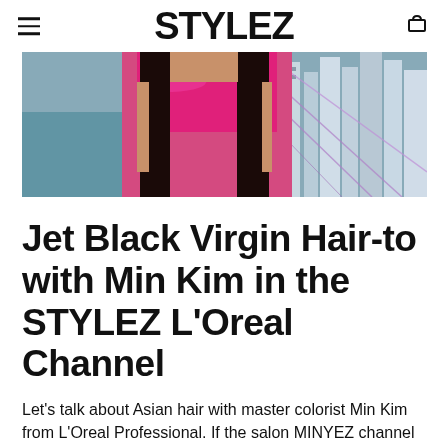STYLEZ
[Figure (photo): Woman with long dark hair wearing a bright pink top, standing on what appears to be a bridge with city buildings in background]
Jet Black Virgin Hair-to with Min Kim in the STYLEZ L'Oreal Channel
Let's talk about Asian hair with master colorist Min Kim from L'Oreal Professional. If the salon MINYEZ channel